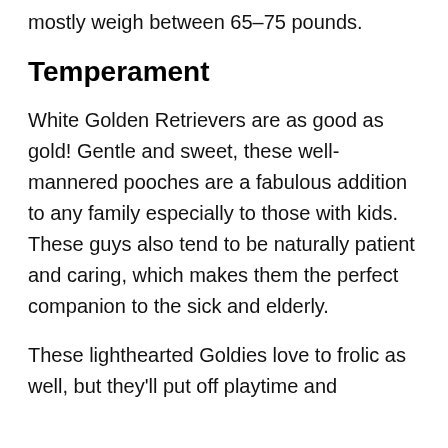mostly weigh between 65–75 pounds.
Temperament
White Golden Retrievers are as good as gold! Gentle and sweet, these well-mannered pooches are a fabulous addition to any family especially to those with kids. These guys also tend to be naturally patient and caring, which makes them the perfect companion to the sick and elderly.
These lighthearted Goldies love to frolic as well, but they'll put off playtime and